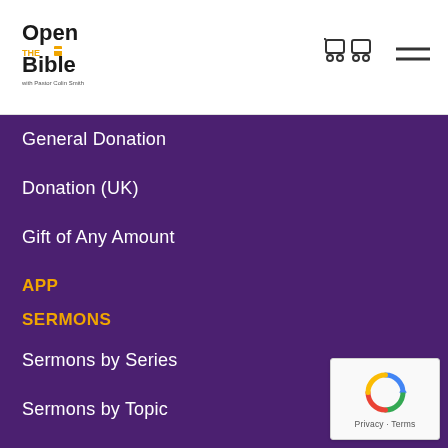[Figure (logo): Open the Bible logo with Pastor Colin Smith text]
[Figure (illustration): Shopping cart icon and hamburger menu icon in header]
General Donation
Donation (UK)
Gift of Any Amount
APP
SERMONS
Sermons by Series
Sermons by Topic
Sermons by Scripture
Sermons by Date
[Figure (logo): reCAPTCHA badge with privacy and terms links]